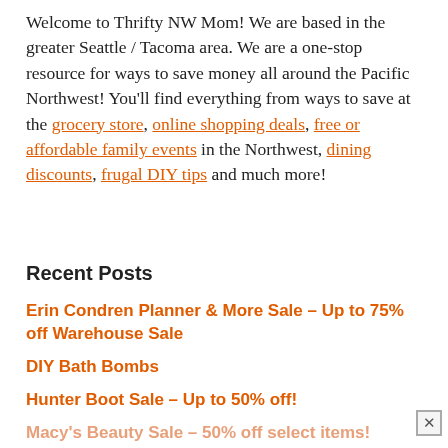Welcome to Thrifty NW Mom! We are based in the greater Seattle / Tacoma area. We are a one-stop resource for ways to save money all around the Pacific Northwest! You'll find everything from ways to save at the grocery store, online shopping deals, free or affordable family events in the Northwest, dining discounts, frugal DIY tips and much more!
Recent Posts
Erin Condren Planner & More Sale – Up to 75% off Warehouse Sale
DIY Bath Bombs
Hunter Boot Sale – Up to 50% off!
Macy's Beauty Sale – 50% off select items!